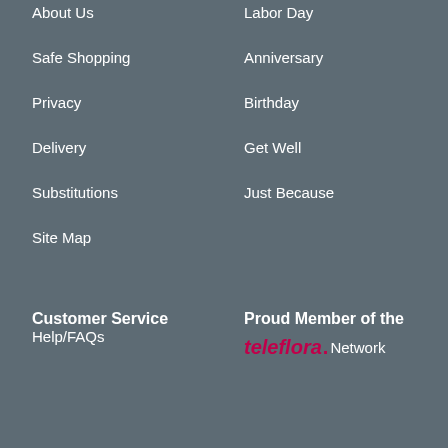About Us
Labor Day
Safe Shopping
Anniversary
Privacy
Birthday
Delivery
Get Well
Substitutions
Just Because
Site Map
Customer Service
Proud Member of the teleflora. Network
Help/FAQs